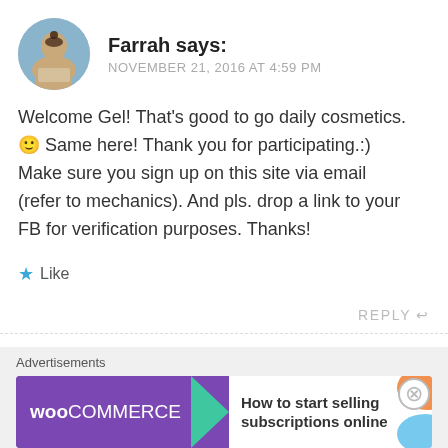[Figure (photo): Circular avatar photo of Farrah, a woman working on a laptop]
Farrah says:
NOVEMBER 21, 2016 AT 4:59 PM
Welcome Gel! That's good to go daily cosmetics. 🙂 Same here! Thank you for participating.:) Make sure you sign up on this site via email (refer to mechanics). And pls. drop a link to your FB for verification purposes. Thanks!
★ Like
REPLY ↩
Advertisements
[Figure (logo): WooCommerce advertisement banner: 'How to start selling subscriptions online']